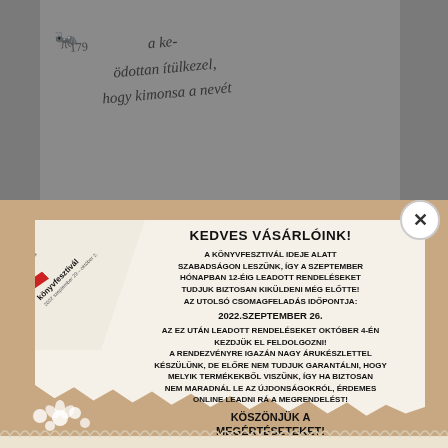[Figure (photo): Gray/dark background showing a book page with Hungarian text in italic serif font, page number 179, and a small ant illustration. Text reads partial sentences including 'a ke-', 'ödottan ítülkezel,', 'hogy kimonsa a nevét']
[Figure (infographic): Promotional flyer for 27. Budapesti Nemzetközi Könyvfesztivál. Cream/beige torn paper background with brown. Contains announcement text in Hungarian about holiday during book festival, last shipping date September 26 2022, and resuming orders October 4. White flowers decoration at bottom. Logo in upper left corner with red elements.]
KEDVES VÁSÁRLÓINK!
A KÖNYVFESZTIVÁL IDEJE ALATT SZABADSÁGON LESZÜNK, ÍGY A SZEPTEMBER HÓNAPBAN 12-ÉIG LEADOTT RENDELÉSEKET TUDJUK BIZTOSAN KIKÜLDENI MÉG ELŐTTE! AZ UTOLSÓ CSOMAGFELADÁS IDŐPONTJA: 2022.SZEPTEMBER 26. AZ EZ UTÁN LEADOTT RENDELÉSEKET OKTÓBER 4-ÉN KEZDJÜK EL FELDOLGOZNI! A RENDEZVÉNYRE IGAZÁN NAGY ÁRUKÉSZLETTEL KÉSZÜLÜNK, DE ELŐRE NEM TUDJUK GARANTÁLNI, HOGY MELYIK TERMÉKEKBŐL VISZÜNK, ÍGY HA BIZTOSAN NEM MARADNÁL LE AZ ÚJDONSÁGOKRÓL, ÉRDEMES ONLINE LEADNI RÁ A MEGRENDELÉST! KÖSZÖNJÜK A MEGÉRTÉSETEKET!